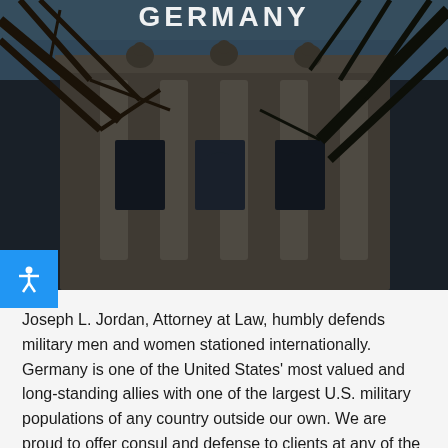GERMANY
[Figure (photo): Dark atmospheric photo of a classical European building facade with ornate stonework, arched windows, columns, and stone statues along the roofline, partially obscured by bare tree branches in the foreground. Blue sky visible at top.]
Joseph L. Jordan, Attorney at Law, humbly defends military men and women stationed internationally. Germany is one of the United States' most valued and long-standing allies with one of the largest U.S. military populations of any country outside our own. We are proud to offer consul and defense to clients at any of the German bases we serve, and have won numerous cases in Germany for both Army and Air Force clients.